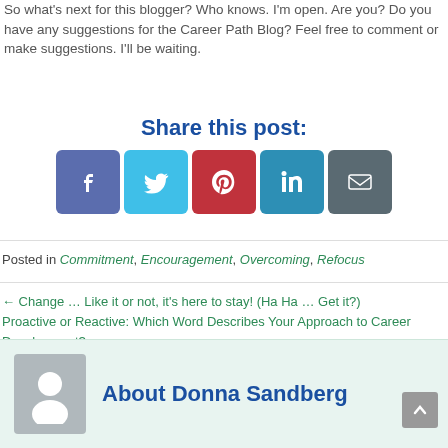So what's next for this blogger? Who knows. I'm open. Are you? Do you have any suggestions for the Career Path Blog? Feel free to comment or make suggestions. I'll be waiting.
Share this post:
[Figure (infographic): Five social media share buttons: Facebook, Twitter, Pinterest, LinkedIn, Email]
Posted in Commitment, Encouragement, Overcoming, Refocus
← Change … Like it or not, it's here to stay! (Ha Ha … Get it?)
Proactive or Reactive: Which Word Describes Your Approach to Career Development? →
About Donna Sandberg
[Figure (photo): Avatar placeholder image of a person silhouette on grey background]